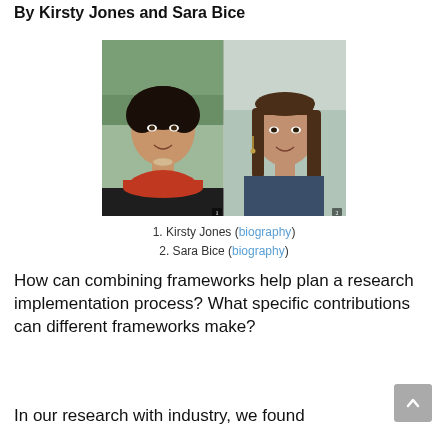By Kirsty Jones and Sara Bice
[Figure (photo): Side-by-side author photos: Kirsty Jones (left) and Sara Bice (right), numbered 1 and 2 respectively]
1. Kirsty Jones (biography)
2. Sara Bice (biography)
How can combining frameworks help plan a research implementation process? What specific contributions can different frameworks make?
In our research with industry, we found combining three frameworks to be effective